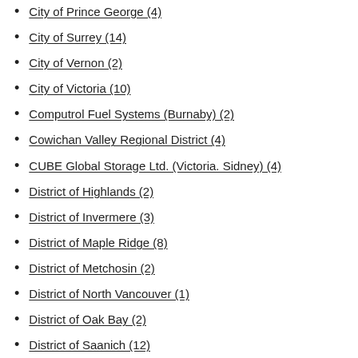City of Prince George (4)
City of Surrey (14)
City of Vernon (2)
City of Victoria (10)
Computrol Fuel Systems (Burnaby) (2)
Cowichan Valley Regional District (4)
CUBE Global Storage Ltd. (Victoria. Sidney) (4)
District of Highlands (2)
District of Invermere (3)
District of Maple Ridge (8)
District of Metchosin (2)
District of North Vancouver (1)
District of Oak Bay (2)
District of Saanich (12)
District of Sechelt (3)
District of Summerland (3)
District of Tofino (2)